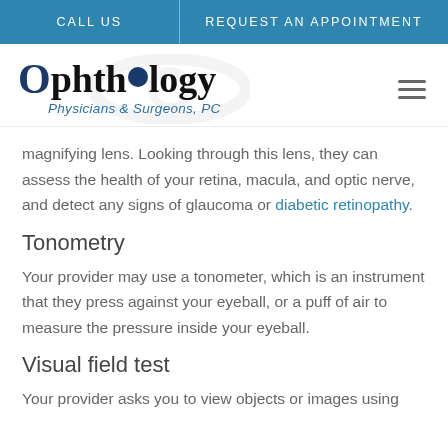CALL US | REQUEST AN APPOINTMENT
[Figure (logo): Ophthalmology Physicians & Surgeons, PC logo with stylized eye graphic and blue circular dot replacing the 'o' in Ophthalmology]
magnifying lens. Looking through this lens, they can assess the health of your retina, macula, and optic nerve, and detect any signs of glaucoma or diabetic retinopathy.
Tonometry
Your provider may use a tonometer, which is an instrument that they press against your eyeball, or a puff of air to measure the pressure inside your eyeball.
Visual field test
Your provider asks you to view objects or images using